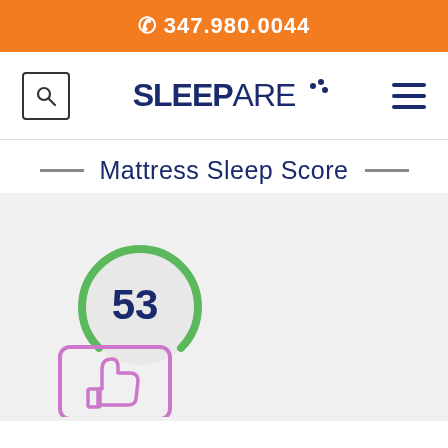☎ 347.980.0044
[Figure (logo): Sleepare logo with bold SLEEP and regular ARE text, with decorative dots, flanked by a search icon box and hamburger menu]
Mattress Sleep Score
[Figure (infographic): Circular gauge/donut showing score of 53 with green arc, on light gray background, with a pink/purple thumbs-up speech bubble icon below]